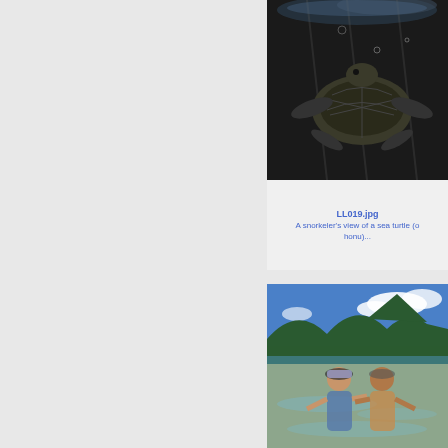[Figure (photo): Black and white underwater photo of a sea turtle (honu) viewed from a snorkeler's perspective]
LL019.jpg
A snorkeler's view of a sea turtle (or honu)...
[Figure (photo): Color photo of two people snorkeling/wading in clear shallow water with green mountains and blue sky in the background]
SSP...